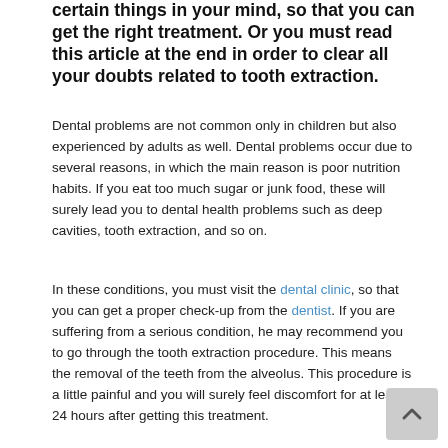certain things in your mind, so that you can get the right treatment. Or you must read this article at the end in order to clear all your doubts related to tooth extraction.
Dental problems are not common only in children but also experienced by adults as well. Dental problems occur due to several reasons, in which the main reason is poor nutrition habits. If you eat too much sugar or junk food, these will surely lead you to dental health problems such as deep cavities, tooth extraction, and so on.
In these conditions, you must visit the dental clinic, so that you can get a proper check-up from the dentist. If you are suffering from a serious condition, he may recommend you to go through the tooth extraction procedure. This means the removal of the teeth from the alveolus. This procedure is a little painful and you will surely feel discomfort for at least 24 hours after getting this treatment.